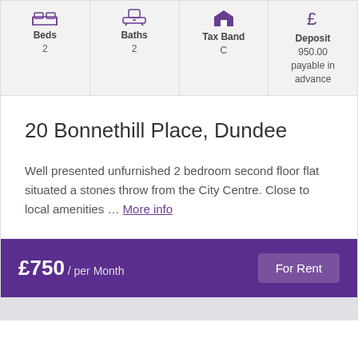| Beds | Baths | Tax Band | Deposit |
| --- | --- | --- | --- |
| 2 | 2 | C | 950.00 payable in advance |
20 Bonnethill Place, Dundee
Well presented unfurnished 2 bedroom second floor flat situated a stones throw from the City Centre. Close to local amenities … More info
£750 / per Month
For Rent